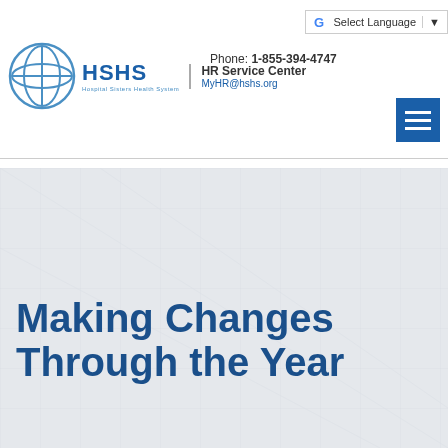HSHS HR Service Center | Phone: 1-855-394-4747 | MyHR@hshs.org
[Figure (logo): HSHS Hospital Sisters Health System logo with circular globe icon and HSHS text in blue]
Making Changes Through the Year